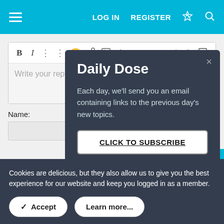LOG IN  REGISTER
[Figure (screenshot): Forum reply editor with toolbar buttons: B (bold), I (italic), dots menus, emoji, link, image, more options, undo, more, and search/preview icon. Editor body shows placeholder text 'Write your reply...']
Name:
[Figure (screenshot): Daily Dose modal dialog on dark background (#343d4e). Title: 'Daily Dose'. Body text: 'Each day, we'll send you an email containing links to the previous day's new topics.' Button: 'CLICK TO SUBSCRIBE'. Close (×) in top right.]
Cookies are delicious, but they also allow us to give you the best experience for our website and keep you logged in as a member.
✓ Accept
Learn more...